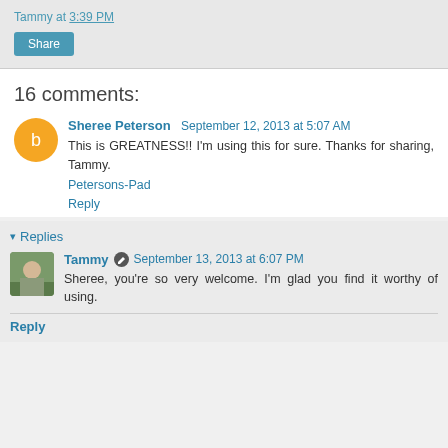Tammy at 3:39 PM
Share
16 comments:
Sheree Peterson September 12, 2013 at 5:07 AM
This is GREATNESS!! I'm using this for sure. Thanks for sharing, Tammy.
Petersons-Pad
Reply
Replies
Tammy September 13, 2013 at 6:07 PM
Sheree, you're so very welcome. I'm glad you find it worthy of using.
Reply